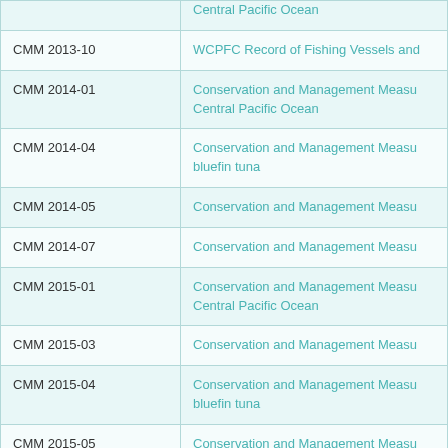| Code | Title |
| --- | --- |
|  | Central Pacific Ocean |
| CMM 2013-10 | WCPFC Record of Fishing Vessels and... |
| CMM 2014-01 | Conservation and Management Measu... Central Pacific Ocean |
| CMM 2014-04 | Conservation and Management Measu... bluefin tuna |
| CMM 2014-05 | Conservation and Management Measu... |
| CMM 2014-07 | Conservation and Management Measu... |
| CMM 2015-01 | Conservation and Management Measu... Central Pacific Ocean |
| CMM 2015-03 | Conservation and Management Measu... |
| CMM 2015-04 | Conservation and Management Measu... bluefin tuna |
| CMM 2015-05 | Conservation and Management Measu... |
| CMM 2015-07 | Conservation and Management Measu... |